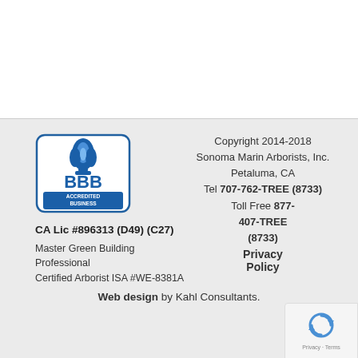[Figure (logo): BBB Accredited Business logo with blue shield and flame icon]
Copyright 2014-2018
Sonoma Marin Arborists, Inc.
Petaluma, CA
Tel 707-762-TREE (8733)
Toll Free 877-407-TREE (8733)
CA Lic #896313 (D49) (C27)
Master Green Building Professional
Certified Arborist ISA #WE-8381A
Privacy Policy
Web design by Kahl Consultants.
[Figure (logo): Google reCAPTCHA badge with circular arrow logo and Privacy - Terms text]